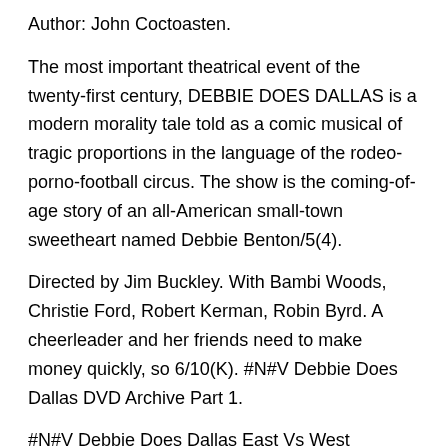Author: John Coctoasten.
The most important theatrical event of the twenty-first century, DEBBIE DOES DALLAS is a modern morality tale told as a comic musical of tragic proportions in the language of the rodeo-porno-football circus. The show is the coming-of-age story of an all-American small-town sweetheart named Debbie Benton/5(4).
Directed by Jim Buckley. With Bambi Woods, Christie Ford, Robert Kerman, Robin Byrd. A cheerleader and her friends need to make money quickly, so 6/10(K). #N#V Debbie Does Dallas DVD Archive Part 1.
#N#V Debbie Does Dallas East Vs West Unboxing and Archive. #N#V Debbie Does Dallas Again Vivid & Arrow Unboxing and Archive. #N#V Debbie. Media in category "Debbie Does Dallas" The following 8 files are in this category, out of 8 total. Bambi × ; KB. Debbie Does Dallas,Edited 3 min 7 s, × ; MB.
Debbie Does Dallas,2 min 0 s, × ; MB. Debbie Does 1 h 23 min 36 s,